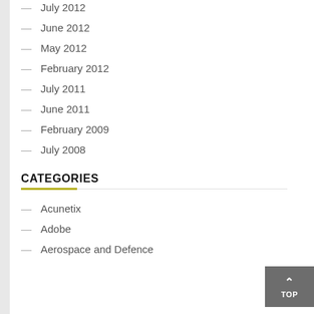— July 2012
— June 2012
— May 2012
— February 2012
— July 2011
— June 2011
— February 2009
— July 2008
CATEGORIES
— Acunetix
— Adobe
— Aerospace and Defence